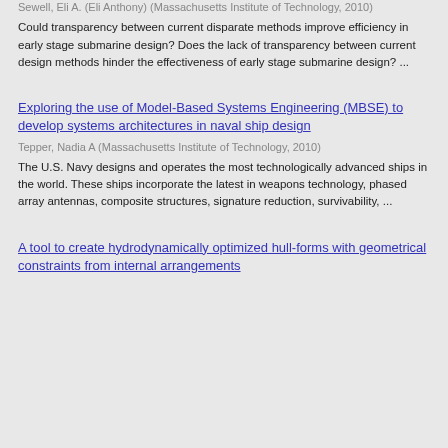Sewell, Eli A. (Eli Anthony) (Massachusetts Institute of Technology, 2010)
Could transparency between current disparate methods improve efficiency in early stage submarine design? Does the lack of transparency between current design methods hinder the effectiveness of early stage submarine design? ...
Exploring the use of Model-Based Systems Engineering (MBSE) to develop systems architectures in naval ship design
Tepper, Nadia A (Massachusetts Institute of Technology, 2010)
The U.S. Navy designs and operates the most technologically advanced ships in the world. These ships incorporate the latest in weapons technology, phased array antennas, composite structures, signature reduction, survivability, ...
A tool to create hydrodynamically optimized hull-forms with geometrical constraints from internal arrangements